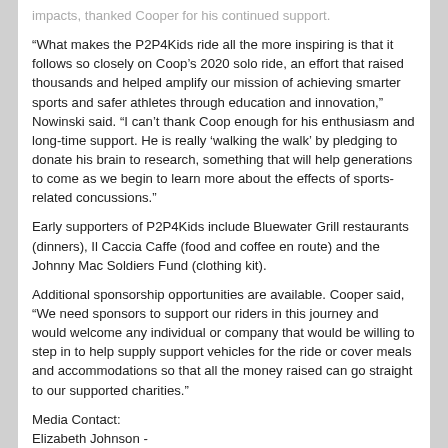impacts, thanked Cooper for his continued support.
“What makes the P2P4Kids ride all the more inspiring is that it follows so closely on Coop’s 2020 solo ride, an effort that raised thousands and helped amplify our mission of achieving smarter sports and safer athletes through education and innovation,” Nowinski said. “I can’t thank Coop enough for his enthusiasm and long-time support. He is really ‘walking the walk’ by pledging to donate his brain to research, something that will help generations to come as we begin to learn more about the effects of sports-related concussions.”
Early supporters of P2P4Kids include Bluewater Grill restaurants (dinners), Il Caccia Caffe (food and coffee en route) and the Johnny Mac Soldiers Fund (clothing kit).
Additional sponsorship opportunities are available. Cooper said, “We need sponsors to support our riders in this journey and would welcome any individual or company that would be willing to step in to help supply support vehicles for the ride or cover meals and accommodations so that all the money raised can go straight to our supported charities.”
Media Contact:
Elizabeth Johnson -
Elizabeth(at)cavanahcommunications.com